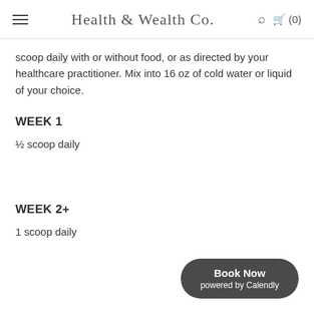Health & Wealth Co.
scoop daily with or without food, or as directed by your healthcare practitioner. Mix into 16 oz of cold water or liquid of your choice.
WEEK 1
½ scoop daily
WEEK 2+
1 scoop daily
Book Now powered by Calendly